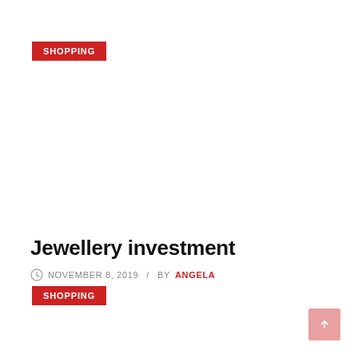SHOPPING
Jewellery investment
NOVEMBER 8, 2019  /  BY ANGELA
SHOPPING